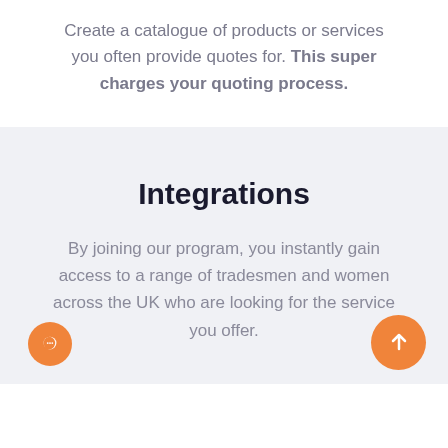Create a catalogue of products or services you often provide quotes for. This super charges your quoting process.
Integrations
By joining our program, you instantly gain access to a range of tradesmen and women across the UK who are looking for the service you offer.